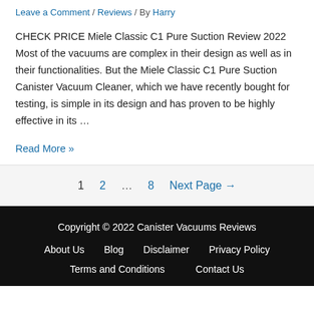Leave a Comment / Reviews / By Harry
CHECK PRICE Miele Classic C1 Pure Suction Review 2022 Most of the vacuums are complex in their design as well as in their functionalities. But the Miele Classic C1 Pure Suction Canister Vacuum Cleaner, which we have recently bought for testing, is simple in its design and has proven to be highly effective in its …
Read More »
1  2  …  8  Next Page →
Copyright © 2022 Canister Vacuums Reviews
About Us  Blog  Disclaimer  Privacy Policy
Terms and Conditions  Contact Us